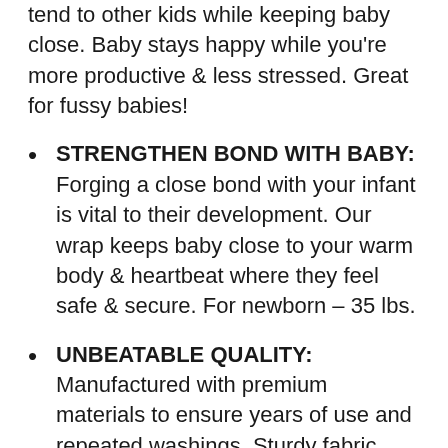tend to other kids while keeping baby close. Baby stays happy while you're more productive & less stressed. Great for fussy babies!
STRENGTHEN BOND WITH BABY: Forging a close bond with your infant is vital to their development. Our wrap keeps baby close to your warm body & heartbeat where they feel safe & secure. For newborn - 35 lbs.
UNBEATABLE QUALITY: Manufactured with premium materials to ensure years of use and repeated washings. Sturdy fabric holds your baby safely & securely. This is a wrap you'll pass on to friends and family!
PRACTICAL DESIGN: Clip-free design is easy to put on & comfortable to wear. Made of 95%